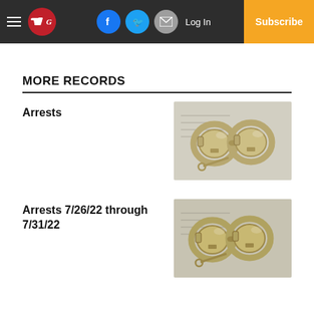Gazette newspaper navigation bar with hamburger menu, G logo, Facebook, Twitter, Email icons, Log In, Subscribe
MORE RECORDS
Arrests
[Figure (photo): Close-up photo of silver handcuffs on a surface with fingerprint cards]
Arrests 7/26/22 through 7/31/22
[Figure (photo): Close-up photo of silver handcuffs on a surface with fingerprint cards]